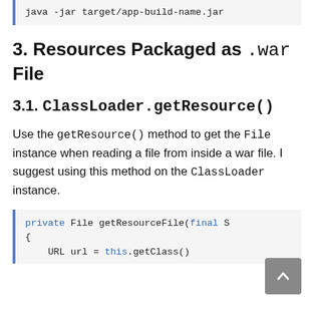java -jar target/app-build-name.jar
3. Resources Packaged as .war File
3.1. ClassLoader.getResource()
Use the getResource() method to get the File instance when reading a file from inside a war file. I suggest using this method on the ClassLoader instance.
private File getResourceFile(final S{
    URL url = this.getClass()